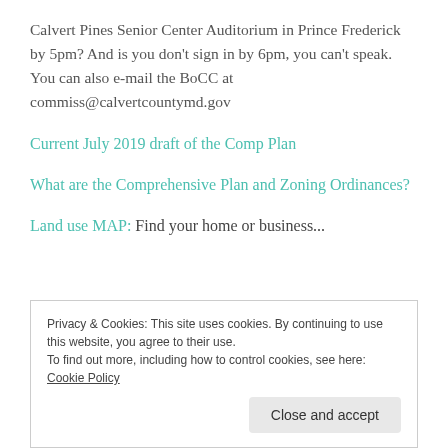Calvert Pines Senior Center Auditorium in Prince Frederick by 5pm? And is you don't sign in by 6pm, you can't speak. You can also e-mail the BoCC at commiss@calvertcountymd.gov
Current July 2019 draft of the Comp Plan
What are the Comprehensive Plan and Zoning Ordinances?
Land use MAP: Find your home or business...
Privacy & Cookies: This site uses cookies. By continuing to use this website, you agree to their use.
To find out more, including how to control cookies, see here: Cookie Policy
Close and accept